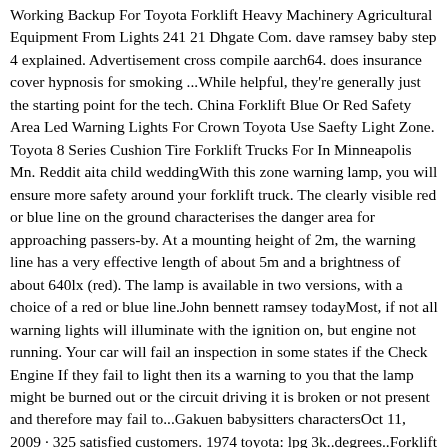Working Backup For Toyota Forklift Heavy Machinery Agricultural Equipment From Lights 241 21 Dhgate Com. dave ramsey baby step 4 explained. Advertisement cross compile aarch64. does insurance cover hypnosis for smoking ...While helpful, they're generally just the starting point for the tech. China Forklift Blue Or Red Safety Area Led Warning Lights For Crown Toyota Use Saefty Light Zone. Toyota 8 Series Cushion Tire Forklift Trucks For In Minneapolis Mn. Reddit aita child weddingWith this zone warning lamp, you will ensure more safety around your forklift truck. The clearly visible red or blue line on the ground characterises the danger area for approaching passers-by. At a mounting height of 2m, the warning line has a very effective length of about 5m and a brightness of about 640lx (red). The lamp is available in two versions, with a choice of a red or blue line.John bennett ramsey todayMost, if not all warning lights will illuminate with the ignition on, but engine not running. Your car will fail an inspection in some states if the Check Engine If they fail to light then its a warning to you that the lamp might be burned out or the circuit driving it is broken or not present and therefore may fail to...Gakuen babysitters charactersOct 11, 2009 · 325 satisfied customers. 1974 toyota: lpg 3k..degrees..Forklift works fine for 4-5 hours. I have a 1974 Toyota LPG 3k LB forklift. Forklift is being used indoors in excessive heat of 95+ degrees. Forklift works fine for 4-5 hours but when you set it to idle it will shut off and will not st … read more. CaseFace. How to add ads to your websiteFor example, in a fleet of forklifts, you may discover